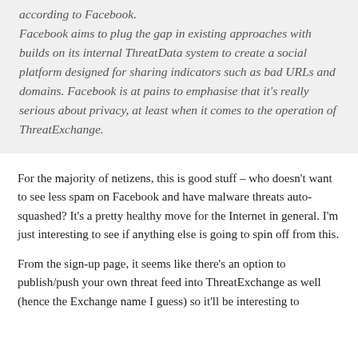according to Facebook.
Facebook aims to plug the gap in existing approaches with builds on its internal ThreatData system to create a social platform designed for sharing indicators such as bad URLs and domains. Facebook is at pains to emphasise that it’s really serious about privacy, at least when it comes to the operation of ThreatExchange.
For the majority of netizens, this is good stuff – who doesn’t want to see less spam on Facebook and have malware threats auto-squashed? It’s a pretty healthy move for the Internet in general. I’m just interesting to see if anything else is going to spin off from this.
From the sign-up page, it seems like there’s an option to publish/push your own threat feed into ThreatExchange as well (hence the Exchange name I guess) so it’ll be interesting to